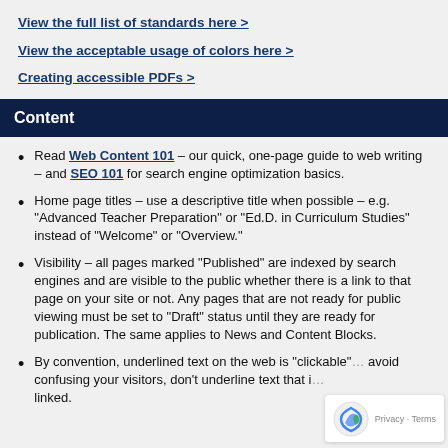View the full list of standards here >
View the acceptable usage of colors here >
Creating accessible PDFs >
Content
Read Web Content 101 – our quick, one-page guide to web writing – and SEO 101 for search engine optimization basics.
Home page titles – use a descriptive title when possible – e.g. "Advanced Teacher Preparation" or "Ed.D. in Curriculum Studies" instead of "Welcome" or "Overview."
Visibility – all pages marked "Published" are indexed by search engines and are visible to the public whether there is a link to that page on your site or not. Any pages that are not ready for public viewing must be set to "Draft" status until they are ready for publication. The same applies to News and Content Blocks.
By convention, underlined text on the web is "clickable" – to avoid confusing your visitors, don't underline text that is not linked.